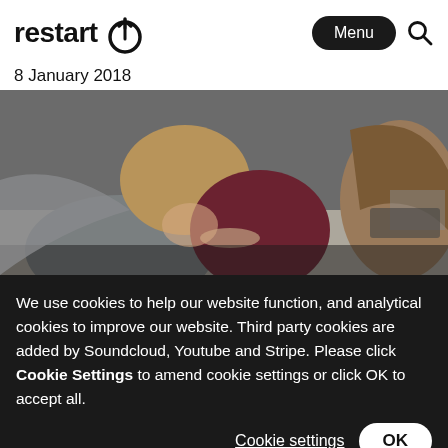restart [logo with power icon]
8 January 2018
[Figure (photo): Three people leaning over a table working on electronic repairs, one wearing a grey sweater with blonde hair in a bun, one in a red/maroon top with glasses, and another person partially visible in the background. The workshop setting has devices and a keyboard on the table.]
We use cookies to help our website function, and analytical cookies to improve our website. Third party cookies are added by Soundcloud, Youtube and Stripe. Please click Cookie Settings to amend cookie settings or click OK to accept all.
Cookie settings
OK